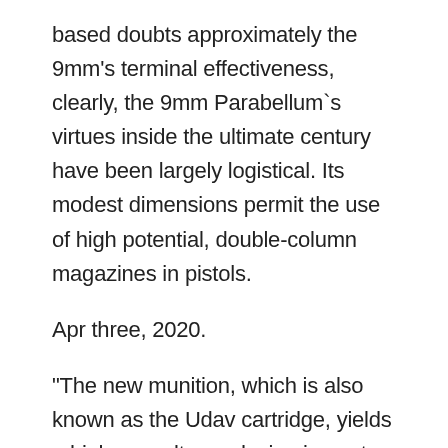based doubts approximately the 9mm's terminal effectiveness, clearly, the 9mm Parabellum`s virtues inside the ultimate century have been largely logistical. Its modest dimensions permit the use of high potential, double-column magazines in pistols.
Apr three, 2020.
"The new munition, which is also known as the Udav cartridge, yields a high casualty-producing impact and is one of the global's most powerful 9mm.
"Most powerful 9mm ammo", eh? I'd say that of all the 9mm cartridges in use, the .358 Norma Magnum could be the one to overcome! In 9×19 ammo, the maximum 'effective' is what's known as '9mm Major'... some thing used usually in